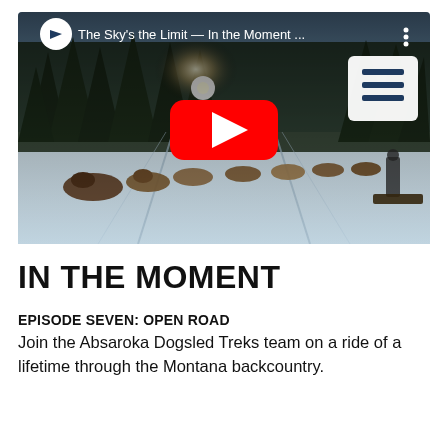[Figure (screenshot): YouTube video thumbnail showing a dog sled team running through a snowy Montana backcountry trail with pine trees in the background and a bright sun flare. The video title bar shows 'The Sky's the Limit — In the Moment ...' with a YouTube channel logo and a red play button overlay. A playlist icon appears in the top right.]
IN THE MOMENT
EPISODE SEVEN: OPEN ROAD
Join the Absaroka Dogsled Treks team on a ride of a lifetime through the Montana backcountry.